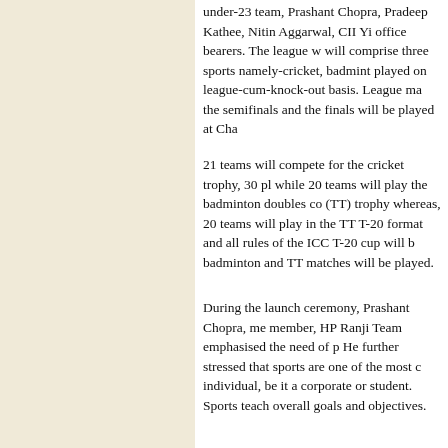under-23 team, Prashant Chopra, Pradeep Kathee, Nitin Aggarwal, CII Yi office bearers. The league will comprise three sports namely-cricket, badminton played on league-cum-knock-out basis. League matches, the semifinals and the finals will be played at Chandigarh.
21 teams will compete for the cricket trophy, 30 players while 20 teams will play the badminton doubles competition (TT) trophy whereas, 20 teams will play in the TT T-20 format and all rules of the ICC T-20 cup will apply, badminton and TT matches will be played.
During the launch ceremony, Prashant Chopra, member, HP Ranji Team emphasised the need of participating. He further stressed that sports are one of the most effective for individual, be it a corporate or student. Sports teach us overall goals and objectives.
Rizvi College, Mumbai
Tribune
Chandigarh, February 7
Mumbai's Rizvi College and Pune's MMCC players Campus Cricket 2014 tournament. After a well-played the tournament, Rizvi College, Mumbai, emerged winner Bull Campus Cricket 2014.